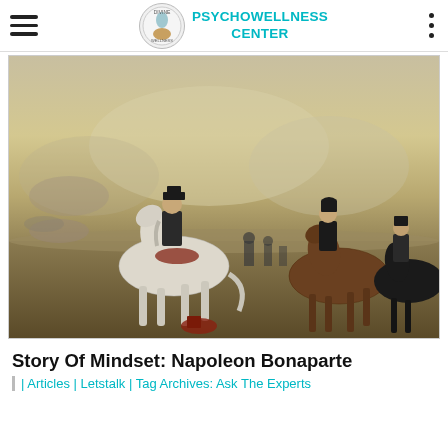PSYCHOWELLNESS CENTER
[Figure (illustration): Classical oil painting depicting Napoleon Bonaparte on a white horse, surrounded by military officers on horseback, set against a misty battlefield landscape.]
Story Of Mindset: Napoleon Bonaparte
| Articles | Letstalk | Tag Archives: Ask The Experts